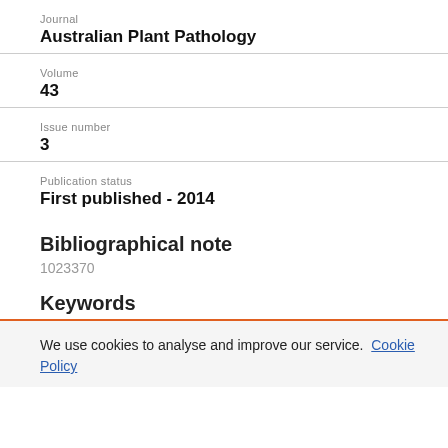Journal
Australian Plant Pathology
Volume
43
Issue number
3
Publication status
First published - 2014
Bibliographical note
1023370
Keywords
We use cookies to analyse and improve our service. Cookie Policy